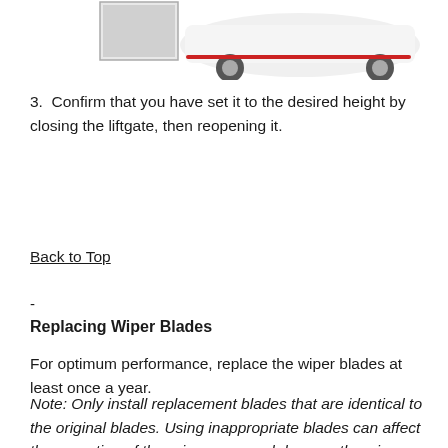[Figure (photo): Partial view of a white car rear with a thumbnail image of the car interior/liftgate area in the upper left corner]
3. Confirm that you have set it to the desired height by closing the liftgate, then reopening it.
Back to Top
-
Replacing Wiper Blades
For optimum performance, replace the wiper blades at least once a year.
Note: Only install replacement blades that are identical to the original blades. Using inappropriate blades can affect the operation of the rain sensor and damage the wiper system and windshield.